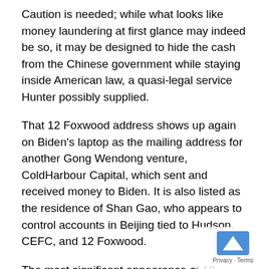Caution is needed; while what looks like money laundering at first glance may indeed be so, it may be designed to hide the cash from the Chinese government while staying inside American law, a quasi-legal service Hunter possibly supplied.
That 12 Foxwood address shows up again on Biden's laptop as the mailing address for another Gong Wendong venture, ColdHarbour Capital, which sent and received money to Biden. It is also listed as the residence of Shan Gao, who appears to control accounts in Beijing tied to Hudson, CEFC, and 12 Foxwood.
The most significant appearance of 12 Foxwood was as the mailing address for a secured VISA card in the name of Biden's company, Hudson West III. The card is funded by some unnamed through Cathay Bank for $99,000 and guaranteed by someone's checking account held by Cathay worth $450,000.